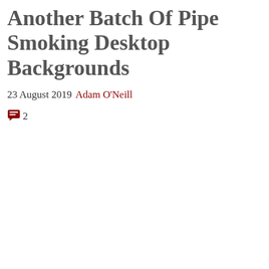Another Batch Of Pipe Smoking Desktop Backgrounds
23 August 2019 Adam O'Neill
2